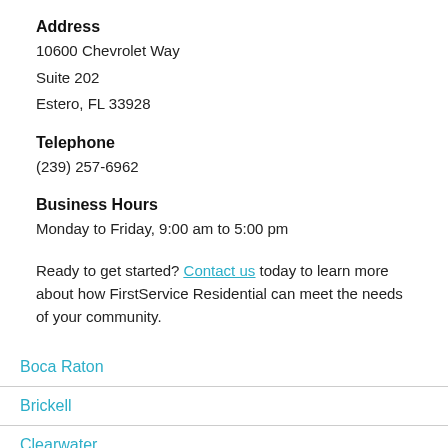Address
10600 Chevrolet Way
Suite 202
Estero, FL 33928
Telephone
(239) 257-6962
Business Hours
Monday to Friday, 9:00 am to 5:00 pm
Ready to get started? Contact us today to learn more about how FirstService Residential can meet the needs of your community.
Boca Raton
Brickell
Clearwater